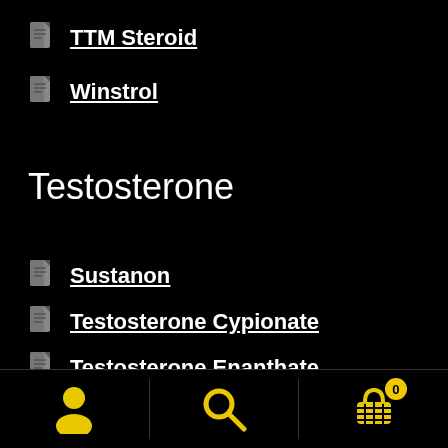TTM Steroid
Winstrol
Testosterone
Sustanon
Testosterone Cypionate
Testosterone Enanthate
Testosterone Heptylate
Testosterone Propionate
Testosterone Suspension
user icon | search icon | cart icon (0)